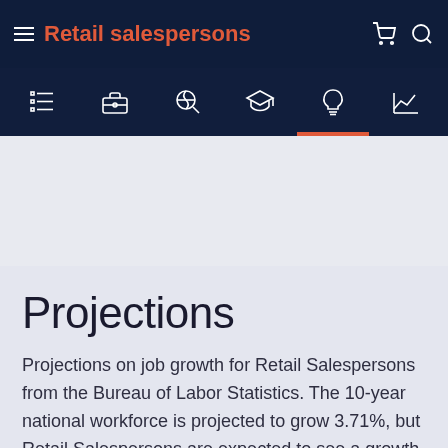Retail salespersons
[Figure (screenshot): Navigation icon bar with list, briefcase, globe search, graduation cap, lightbulb, and chart icons on dark navy background]
Projections
Projections on job growth for Retail Salespersons from the Bureau of Labor Statistics. The 10-year national workforce is projected to grow 3.71%, but Retail Salespersons are expected to see a growth of